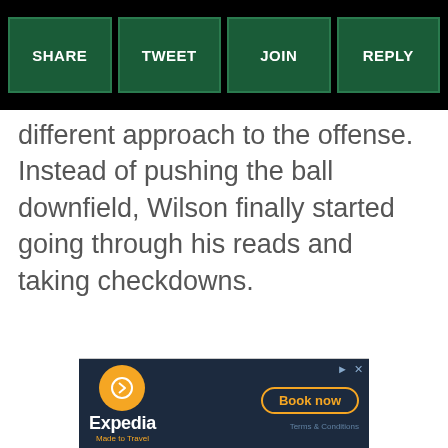SHARE | TWEET | JOIN | REPLY
different approach to the offense. Instead of pushing the ball downfield, Wilson finally started going through his reads and taking checkdowns.
[Figure (infographic): Expedia advertisement banner with 'Made to Travel' tagline and 'Book now' button]